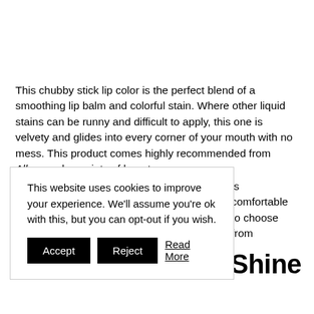This chubby stick lip color is the perfect blend of a smoothing lip balm and colorful stain. Where other liquid stains can be runny and difficult to apply, this one is velvety and glides into every corner of your mouth with no mess. This product comes highly recommended from Allure and a variety of beauty [editors. The product] is comfortable [and has shades] to choose from
This website uses cookies to improve your experience. We'll assume you're ok with this, but you can opt-out if you wish. Accept Reject Read More
e Shine